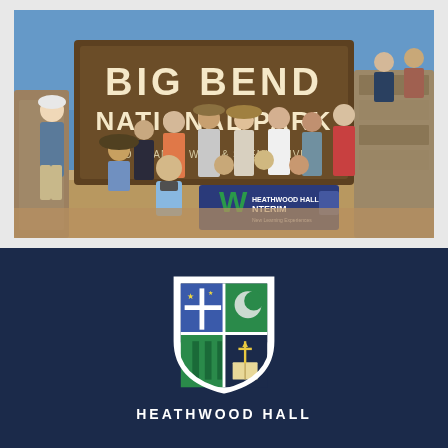[Figure (photo): Group of students posing in front of the Big Bend National Park sign. Several students are holding a blue banner reading 'Heathwood Hall Winterim'. The sign reads 'Big Bend National Park, Rio Grande Wild & Scenic River'. Students are dressed in outdoor/hiking gear.]
[Figure (logo): Heathwood Hall school crest/shield logo on a dark navy blue background. The shield has four quadrants: top-left with blue field and white cross (Episcopal cross) with stars, top-right with green field and white/grey circle/crescent, bottom-left with green pillars/columns, bottom-right (implied). Below the shield is a book and sword/cross symbol. Below the logo text reads 'HEATHWOOD HALL' in white capital letters.]